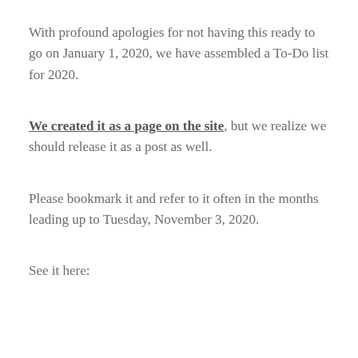With profound apologies for not having this ready to go on January 1, 2020, we have assembled a To-Do list for 2020.
We created it as a page on the site, but we realize we should release it as a post as well.
Please bookmark it and refer to it often in the months leading up to Tuesday, November 3, 2020.
See it here: